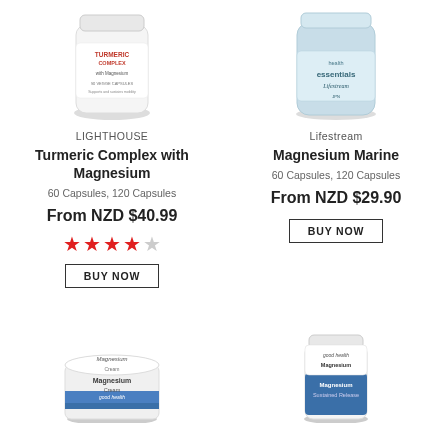[Figure (photo): Lighthouse Turmeric Complex with Magnesium supplement bottle, white container with red and black label]
LIGHTHOUSE
Turmeric Complex with Magnesium
60 Capsules, 120 Capsules
From NZD $40.99
[Figure (other): 4 red filled stars and 1 empty star rating]
BUY NOW
[Figure (photo): Lifestream Magnesium Marine supplement bottle, light blue container]
Lifestream
Magnesium Marine
60 Capsules, 120 Capsules
From NZD $29.90
BUY NOW
[Figure (photo): Good Health Magnesium Cream supplement tub, white and blue container]
[Figure (photo): Good Health Magnesium Sustained Release supplement bottle, white and blue container]